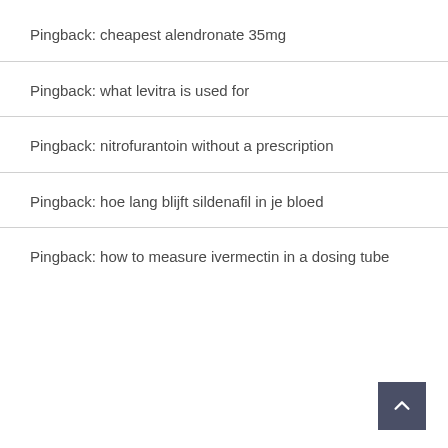Pingback: cheapest alendronate 35mg
Pingback: what levitra is used for
Pingback: nitrofurantoin without a prescription
Pingback: hoe lang blijft sildenafil in je bloed
Pingback: how to measure ivermectin in a dosing tube